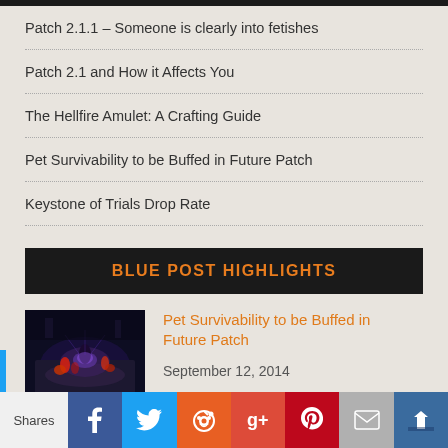Patch 2.1.1 – Someone is clearly into fetishes
Patch 2.1 and How it Affects You
The Hellfire Amulet: A Crafting Guide
Pet Survivability to be Buffed in Future Patch
Keystone of Trials Drop Rate
BLUE POST HIGHLIGHTS
[Figure (photo): Game screenshot showing combat scene with characters and monsters in dark dungeon environment]
Pet Survivability to be Buffed in Future Patch
September 12, 2014
Shares